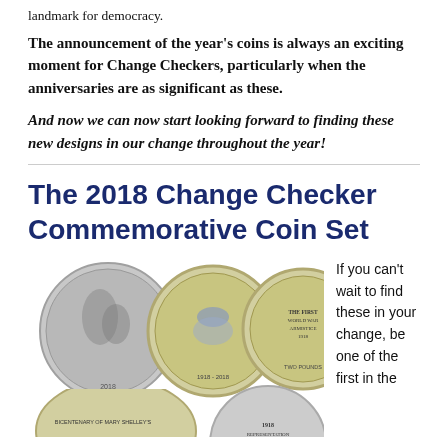landmark for democracy.
The announcement of the year's coins is always an exciting moment for Change Checkers, particularly when the anniversaries are as significant as these.
And now we can now start looking forward to finding these new designs in our change throughout the year!
The 2018 Change Checker Commemorative Coin Set
[Figure (photo): Three commemorative coins shown side by side: a coin featuring a figure, a 100th anniversary of the Royal Air Force coin, and a First World War Armistice coin. Below are two more partial coins.]
If you can't wait to find these in your change, be one of the first in the